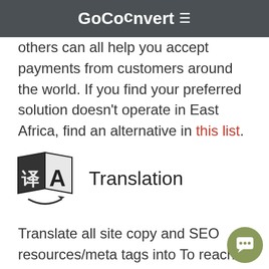GoConvert ≡
others can all help you accept payments from customers around the world. If you find your preferred solution doesn't operate in East Africa, find an alternative in this list.
Translation
[Figure (illustration): Translation icon showing two overlapping book/document shapes with a stylized letter and Chinese character, black and white with an arrow underneath]
Translate all site copy and SEO resources/meta tags into To reach the greatest number of people in East Africa, translate all site copy and SEO resources/meta tags into relevant African langauges. Google Translate can help create a first draft. However, before launching